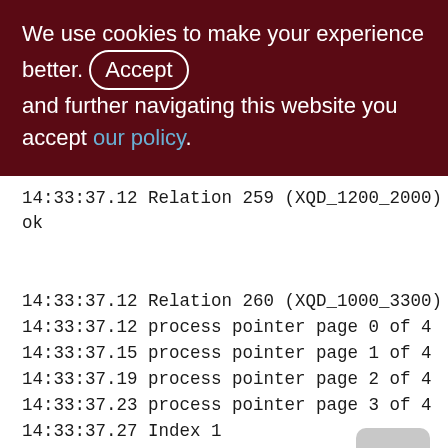We use cookies to make your experience better. By accepting and further navigating this website you accept our policy.
14:33:37.12 Relation 259 (XQD_1200_2000) is ok
14:33:37.12 Relation 260 (XQD_1000_3300)
14:33:37.12 process pointer page 0 of 4
14:33:37.15 process pointer page 1 of 4
14:33:37.19 process pointer page 2 of 4
14:33:37.23 process pointer page 3 of 4
14:33:37.27 Index 1 (XQD_1000_3300_WARE_SOP_ROP_SND)
14:33:37.47 Index 2 (XQD_1000_3300_DOC)
14:33:37.64 Relation has 1 orphan